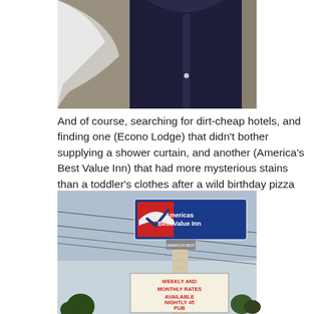[Figure (photo): Top portion of a photo showing a person in a dark jacket with snow and gravel in the background, cropped at the torso level.]
And of course, searching for dirt-cheap hotels, and finding one (Econo Lodge) that didn't bother supplying a shower curtain, and another (America's Best Value Inn) that had more mysterious stains than a toddler's clothes after a wild birthday pizza party. I didn't remove my shoes until I was in bed that night.
[Figure (photo): Photo of an America's Best Value Inn roadside sign against a blue sky with power lines visible. The marquee below reads: WEEKLY AND MONTHLY RATES AVAILABLE NIGHTLY 45 PUB NOW OPEN]